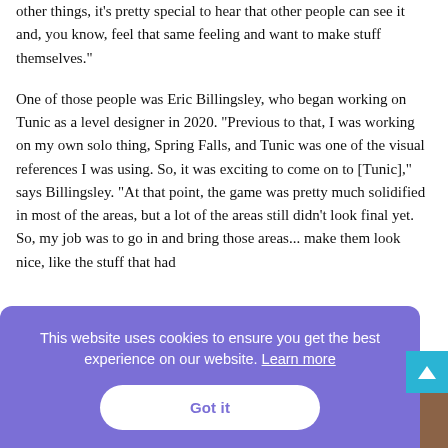other things, it's pretty special to hear that other people can see it and, you know, feel that same feeling and want to make stuff themselves."
One of those people was Eric Billingsley, who began working on Tunic as a level designer in 2020. "Previous to that, I was working on my own solo thing, Spring Falls, and Tunic was one of the visual references I was using. So, it was exciting to come on to [Tunic]," says Billingsley. "At that point, the game was pretty much solidified in most of the areas, but a lot of the areas still didn't look final yet. So, my job was to go in and bring those areas... make them look nice, like the stuff that had
[Figure (screenshot): Cookie consent banner overlay with purple background, text 'This website uses cookies to ensure you get the best experience on our website. Learn more', and a white 'Got it' button. Also visible: a cyan scroll-to-top button and a brown/dark image strip at the bottom.]